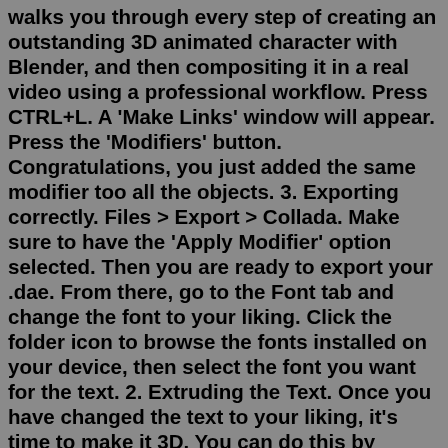walks you through every step of creating an outstanding 3D animated character with Blender, and then compositing it in a real video using a professional workflow. Press CTRL+L. A 'Make Links' window will appear. Press the 'Modifiers' button. Congratulations, you just added the same modifier too all the objects. 3. Exporting correctly. Files > Export > Collada. Make sure to have the 'Apply Modifier' option selected. Then you are ready to export your .dae. From there, go to the Font tab and change the font to your liking. Click the folder icon to browse the fonts installed on your device, then select the font you want for the text. 2. Extruding the Text. Once you have changed the text to your liking, it's time to make it 3D. You can do this by extruding the text. About this Course. In this course, digital artist Kevin Liao from Mammoth Interactive will teach you how to use Blender to make low-poly art. You draw 13 3D models of buildings for use in game development or other creations of your choice. This course is perfect for beginners. We begin with a